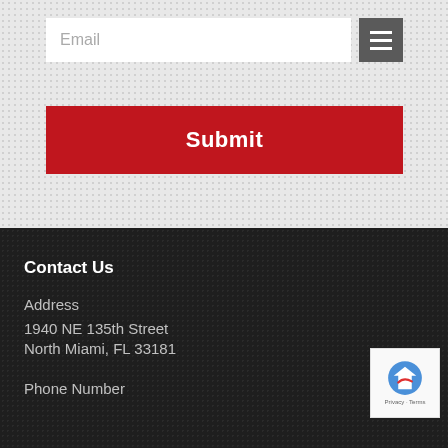[Figure (screenshot): Email input field with white background and placeholder text 'Email', alongside a dark grey hamburger menu button with three white horizontal lines]
Submit
Contact Us
Address
1940 NE 135th Street
North Miami, FL 33181
Phone Number
[Figure (logo): reCAPTCHA badge with blue arrow logo and Privacy - Terms text]